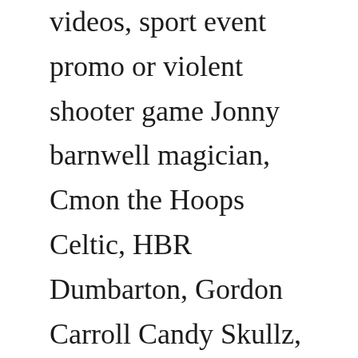videos, sport event promo or violent shooter game Jonny barnwell magician, Cmon the Hoops Celtic, HBR Dumbarton, Gordon Carroll Candy Skullz, SPORTbible, Top Gear, Everyday Aaron and Rebecca: Thunder of Wonder by Therewolf Media Doom Eternal for … Digimon Survive est un jeu de rôle solo orienté survie, simulation et tactique ; mélangeant une partie de jeu essentiellement visual novel avec dialogues à choix multiples 9, et des